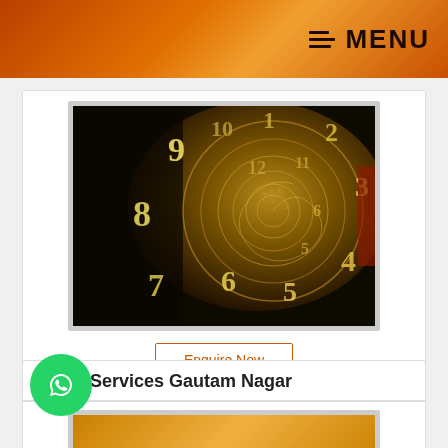MENU
[Figure (photo): Spiral clock face with numbers arranged in a golden swirling pattern against a dark background, numerology themed image]
Enquire Now
Numerology is any of many systems, traditions or beliefs in a mystical or esoteric relationship between numbers and physical objects or living things. We provide Best Numerologist Services in Delhi, Online Numerology Readers. Get more details on our website.
ology Services Gautam Nagar
[Figure (photo): Golden/yellow glowing image, partial numerology related photo at bottom of page]